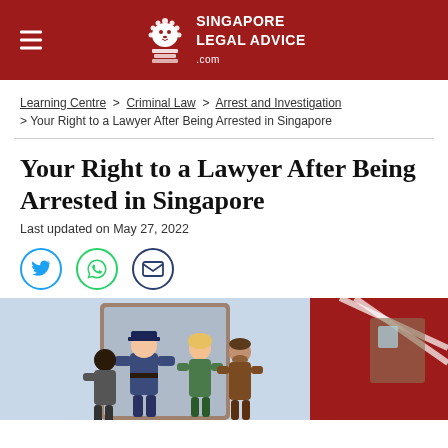Singapore Legal Advice .com
Learning Centre > Criminal Law > Arrest and Investigation
> Your Right to a Lawyer After Being Arrested in Singapore
Your Right to a Lawyer After Being Arrested in Singapore
Last updated on May 27, 2022
[Figure (illustration): Social share buttons: Twitter (blue bird icon), WhatsApp (green phone icon), Email (dark envelope icon)]
[Figure (illustration): Illustration showing a police officer arresting a person, with other people in the background, in a stylized flat design]